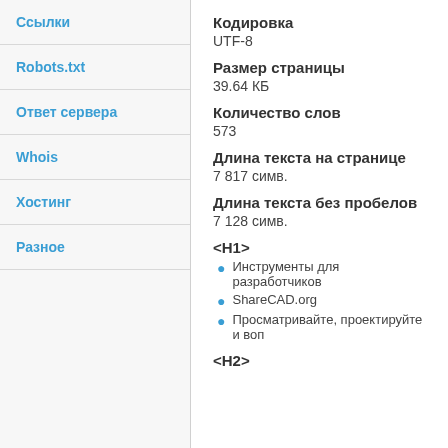Ссылки
Robots.txt
Ответ сервера
Whois
Хостинг
Разное
Кодировка
UTF-8
Размер страницы
39.64 КБ
Количество слов
573
Длина текста на странице
7 817 симв.
Длина текста без пробелов
7 128 симв.
<H1>
Инструменты для разработчиков
ShareCAD.org
Просматривайте, проектируйте и воп
<H2>